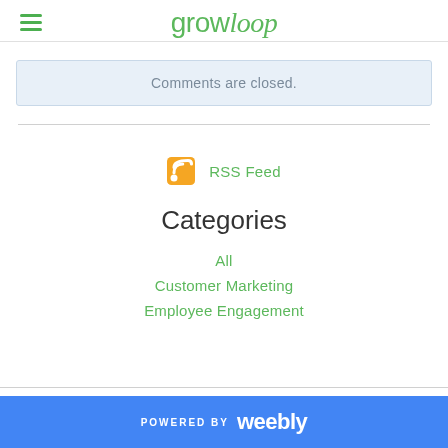growloop
Comments are closed.
RSS Feed
Categories
All
Customer Marketing
Employee Engagement
POWERED BY weebly